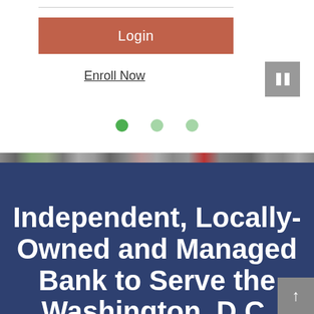[Figure (screenshot): Login button (terracotta/salmon color) with white text 'Login']
Enroll Now
[Figure (other): Pause button (gray square with two white vertical bars)]
[Figure (other): Carousel dot navigation: one active green dot and two lighter green inactive dots]
[Figure (photo): Thin colorful image strip showing a street or building scene]
Independent, Locally-Owned and Managed Bank to Serve the Washington, D.C. Metro and Central Virginia Mark